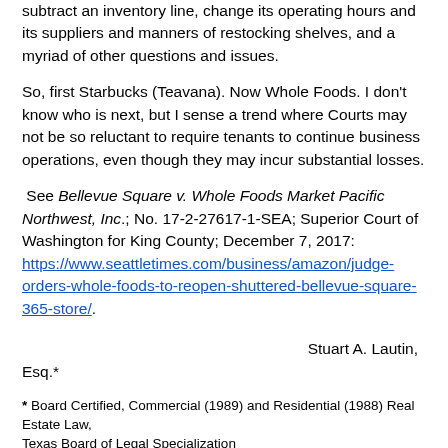subtract an inventory line, change its operating hours and its suppliers and manners of restocking shelves, and a myriad of other questions and issues.
So, first Starbucks (Teavana). Now Whole Foods. I don't know who is next, but I sense a trend where Courts may not be so reluctant to require tenants to continue business operations, even though they may incur substantial losses.
See Bellevue Square v. Whole Foods Market Pacific Northwest, Inc.; No. 17-2-27617-1-SEA; Superior Court of Washington for King County; December 7, 2017: https://www.seattletimes.com/business/amazon/judge-orders-whole-foods-to-reopen-shuttered-bellevue-square-365-store/.
Stuart A. Lautin, Esq.*
* Board Certified, Commercial (1989) and Residential (1988) Real Estate Law, Texas Board of Legal Specialization